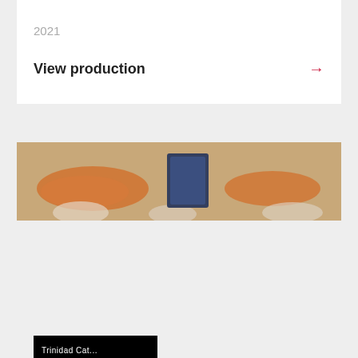2021
View production →
[Figure (photo): A wide blurred photograph showing an industrial or workshop scene with orange and blue equipment/objects on a light brown surface.]
Trinidad Cat...